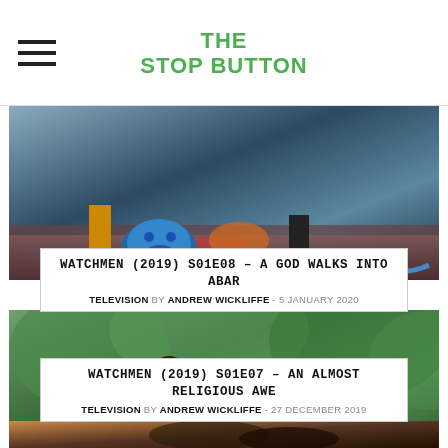THE STOP BUTTON
[Figure (photo): Scene from Watchmen (2019) S01E08 showing a blue mask on the ground with people's legs visible]
WATCHMEN (2019) S01E08 – A GOD WALKS INTO ABAR
TELEVISION by ANDREW WICKLIFFE - 5 JANUARY 2020
[Figure (photo): Scene from Watchmen (2019) S01E07 showing two women talking outdoors with green foliage in the background]
WATCHMEN (2019) S01E07 – AN ALMOST RELIGIOUS AWE
TELEVISION by ANDREW WICKLIFFE - 27 DECEMBER 2019
[Figure (photo): Partial image of a third article, dark tones with warm amber lighting]